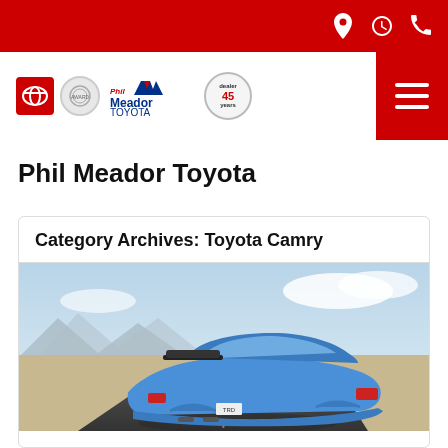Phil Meador Toyota — navigation header with location, hours, phone icons and hamburger menu
Phil Meador Toyota
Category Archives: Toyota Camry
[Figure (photo): Blue Toyota Camry TRD driving on a desert highway, rear three-quarter view]
What Are the